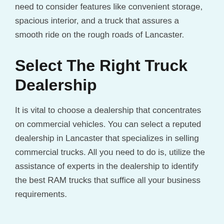need to consider features like convenient storage, spacious interior, and a truck that assures a smooth ride on the rough roads of Lancaster.
Select The Right Truck Dealership
It is vital to choose a dealership that concentrates on commercial vehicles. You can select a reputed dealership in Lancaster that specializes in selling commercial trucks. All you need to do is, utilize the assistance of experts in the dealership to identify the best RAM trucks that suffice all your business requirements.